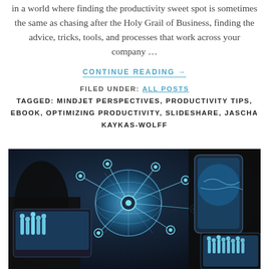in a world where finding the productivity sweet spot is sometimes the same as chasing after the Holy Grail of Business, finding the advice, tricks, tools, and processes that work across your company …
CONTINUE READING →
FILED UNDER: ALL POSTS
TAGGED: MINDJET PERSPECTIVES, PRODUCTIVITY TIPS, EBOOK, OPTIMIZING PRODUCTIVITY, SLIDESHARE, JASCHA KAYKAS-WOLFF
[Figure (photo): A person in a dark suit holding a smartphone, with a laptop and tablet visible, overlaid with a glowing globe network graphic showing connected people silhouettes and digital communication nodes.]